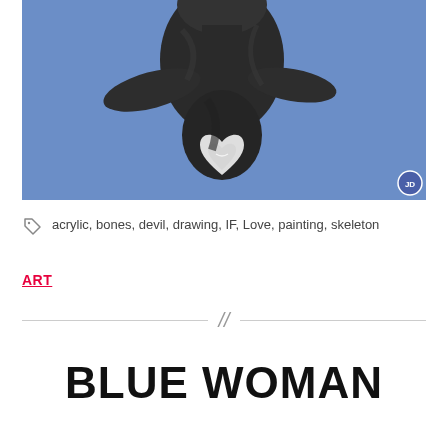[Figure (illustration): A painting of an upside-down dark figure (woman/devil) with a white heart-shaped skeletal element at the bottom center, on a blue background. A small circular avatar badge with 'JD' initials appears in the bottom-right corner.]
acrylic, bones, devil, drawing, IF, Love, painting, skeleton
ART
BLUE WOMAN